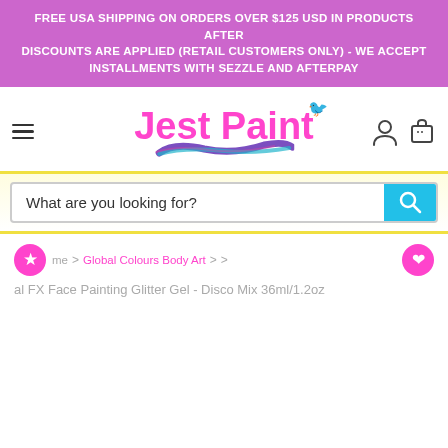FREE USA SHIPPING ON ORDERS OVER $125 USD IN PRODUCTS AFTER DISCOUNTS ARE APPLIED (RETAIL CUSTOMERS ONLY) - WE ACCEPT INSTALLMENTS WITH SEZZLE AND AFTERPAY
[Figure (logo): Jest Paint logo with pink script text and a decorative bird, with a colorful brush stroke underneath]
What are you looking for?
Home > Global Colours Body Art > > al FX Face Painting Glitter Gel - Disco Mix 36ml/1.2oz
REWARDS